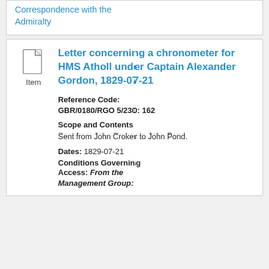Correspondence with the Admiralty
Letter concerning a chronometer for HMS Atholl under Captain Alexander Gordon, 1829-07-21
Reference Code: GBR/0180/RGO 5/230: 162
Scope and Contents
Sent from John Croker to John Pond.
Dates: 1829-07-21
Conditions Governing Access:
From the Management Group:
No restrictions apply